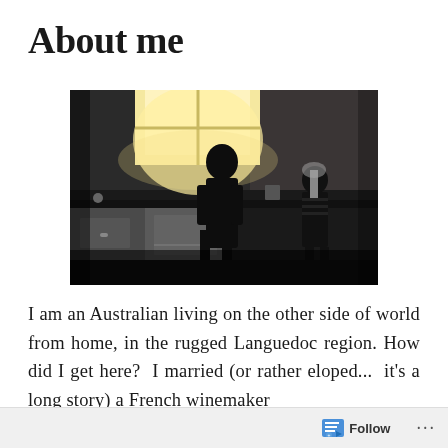About me
[Figure (photo): Dark silhouette photo of two figures (an adult and a child) standing at a kitchen counter, with bright window light in the background.]
I am an Australian living on the other side of world from home, in the rugged Languedoc region. How did I get here?  I married (or rather eloped...  it's a long story) a French winemaker
Follow  ···